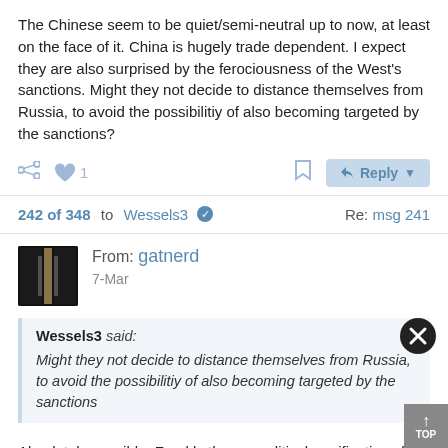The Chinese seem to be quiet/semi-neutral up to now, at least on the face of it. China is hugely trade dependent. I expect they are also surprised by the ferociousness of the West's sanctions. Might they not decide to distance themselves from Russia, to avoid the possibilitiy of also becoming targeted by the sanctions?
242 of 348 to Wessels3 ✓   Re: msg 241
From: gatnerd
7-Mar
Wessels3 said: Might they not decide to distance themselves from Russia, to avoid the possibilitiy of also becoming targeted by the sanctions
Absolutely possible. Frankly the geopolitical ramifications for everyone are incredible in terms of possibilities and 3rd order